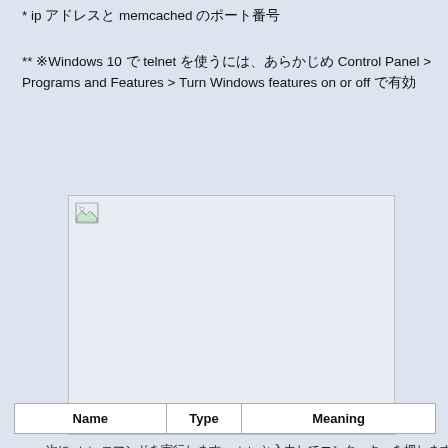* ipアドレスとmemcachedのポート番号
** ※Windows 10でtelnetを使うには、あらかじめControl Panel > Programs and Features > Turn Windows features on or offで有効
[Figure (screenshot): Broken image placeholder showing a screenshot area with a small broken image icon in the top-left corner]
次にstatsコマンドを実行します。statsと入力してエンターキーを押します。
| Name | Type | Meaning |
| --- | --- | --- |